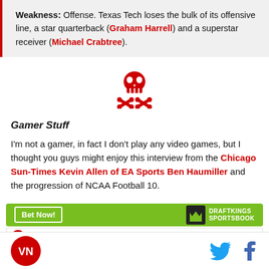Weakness: Offense. Texas Tech loses the bulk of its offensive line, a star quarterback (Graham Harrell) and a superstar receiver (Michael Crabtree).
[Figure (illustration): Red skull and crossbones icon]
Gamer Stuff
I'm not a gamer, in fact I don't play any video games, but I thought you guys might enjoy this interview from the Chicago Sun-Times Kevin Allen of EA Sports Ben Haumiller and the progression of NCAA Football 10.
[Figure (infographic): DraftKings Sportsbook betting widget with Bet Now button and Texas Tech Red Raiders odds, partially cut off]